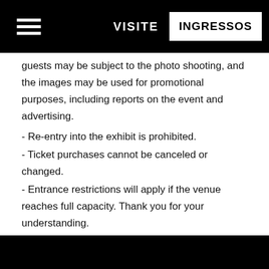VISITE  INGRESSOS
guests may be subject to the photo shooting, and the images may be used for promotional purposes, including reports on the event and advertising.
- Re-entry into the exhibit is prohibited.
- Ticket purchases cannot be canceled or changed.
- Entrance restrictions will apply if the venue reaches full capacity. Thank you for your understanding.
- Please note that the contents are subject to sudden changes.
- Please refrain from any acts that may damage cultural property.